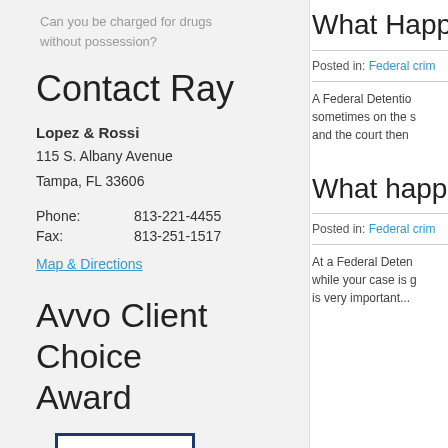Can you be charged for drugs without possession?
Contact Ray
Lopez & Rossi
115 S. Albany Avenue
Tampa, FL 33606
Phone:  813-221-4455
Fax:  813-251-1517
Map & Directions
Avvo Client Choice Award
[Figure (logo): Avvo Clients' Choice award badge with navy blue border, Avvo logo in italic blue, and Clients' Choice text in red]
What Happe
Posted in: Federal crim
A Federal Detentio sometimes on the s and the court then
What happen
Posted in: Federal crim
At a Federal Deten while your case is g is very important...